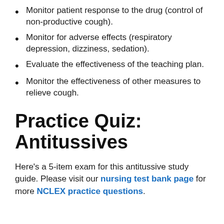Monitor patient response to the drug (control of non-productive cough).
Monitor for adverse effects (respiratory depression, dizziness, sedation).
Evaluate the effectiveness of the teaching plan.
Monitor the effectiveness of other measures to relieve cough.
Practice Quiz: Antitussives
Here's a 5-item exam for this antitussive study guide. Please visit our nursing test bank page for more NCLEX practice questions.